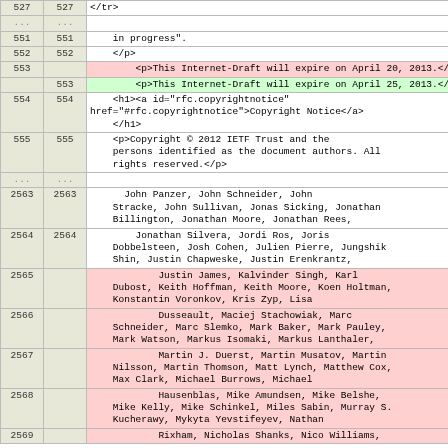| Line (old) | Line (new) | Content |
| --- | --- | --- |
| 527 | 527 | </tr> |
| ... | ... |  |
| 551 | 551 | in progress". |
| 552 | 552 | </p> |
| 553 |  | <p>This Internet-Draft will expire on April 20, 2013.</p> |
|  | 553 | <p>This Internet-Draft will expire on April 25, 2013.</p> |
| 554 | 554 | <h1><a id="rfc.copyrightnotice" href="#rfc.copyrightnotice">Copyright Notice</a></h1> |
| 555 | 555 | <p>Copyright © 2012 IETF Trust and the persons identified as the document authors. All rights reserved.</p> |
| ... | ... |  |
| 2563 | 2563 | John Panzer, John Schneider, John Stracke, John Sullivan, Jonas Sicking, Jonathan Billington, Jonathan Moore, Jonathan Rees, |
| 2564 | 2564 | Jonathan Silvera, Jordi Ros, Joris Dobbelsteen, Josh Cohen, Julien Pierre, Jungshik Shin, Justin Chapweske, Justin Erenkrantz, |
| 2565 |  | Justin James, Kalvinder Singh, Karl Dubost, Keith Hoffman, Keith Moore, Koen Holtman, Konstantin Voronkov, Kris Zyp, Lisa |
| 2566 |  | Dusseault, Maciej Stachowiak, Marc Schneider, Marc Slemko, Mark Baker, Mark Pauley, Mark Watson, Markus Isomaki, Markus Lanthaler, |
| 2567 |  | Martin J. Duerst, Martin Musatov, Martin Nilsson, Martin Thomson, Matt Lynch, Matthew Cox, Max Clark, Michael Burrows, Michael |
| 2568 |  | Hausenblas, Mike Amundsen, Mike Belshe, Mike Kelly, Mike Schinkel, Miles Sabin, Murray S. Kucherawy, Mykyta Yevstifeyev, Nathan |
| 2569 |  | Rixham, Nicholas Shanks, Nico Williams, |